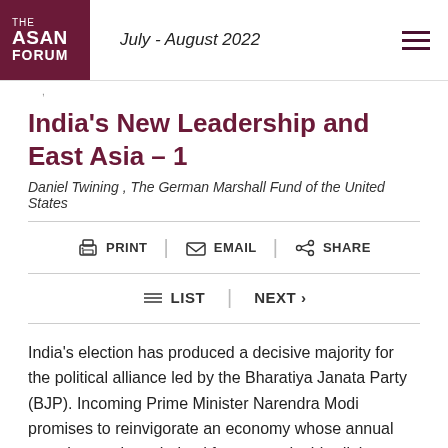THE ASAN FORUM | July - August 2022
India's New Leadership and East Asia – 1
Daniel Twining , The German Marshall Fund of the United States
PRINT | EMAIL | SHARE
LIST | NEXT >
India's election has produced a decisive majority for the political alliance led by the Bharatiya Janata Party (BJP). Incoming Prime Minister Narendra Modi promises to reinvigorate an economy whose annual growth rates have halved from near double-digit rates in